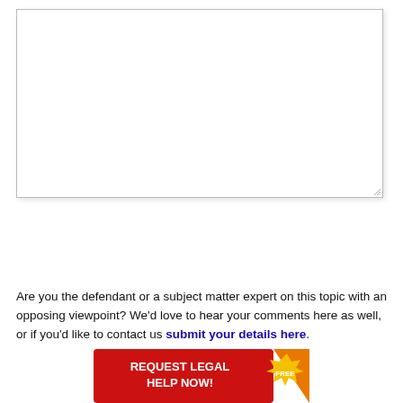[Figure (screenshot): A large empty textarea form field with a resize handle in the bottom-right corner and a subtle drop shadow]
[Figure (screenshot): A red SUBMIT button centered on the page]
Are you the defendant or a subject matter expert on this topic with an opposing viewpoint? We'd love to hear your comments here as well, or if you'd like to contact us submit your details here.
[Figure (infographic): A red and orange banner advertisement reading REQUEST LEGAL HELP NOW! with a FREE starburst badge]